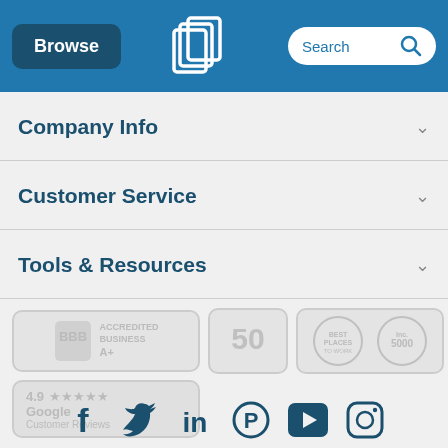Browse | QLP Logo | Search
Company Info
Customer Service
Tools & Resources
[Figure (logo): BBB Accredited Business A+ badge, Top 50 Distributors badge, Best Places to Work badge, Inc. 5000 badge]
[Figure (logo): 4.9 stars Google Customer Reviews badge]
[Figure (infographic): Social media icons: Facebook, Twitter, LinkedIn, Pinterest, YouTube, Instagram]